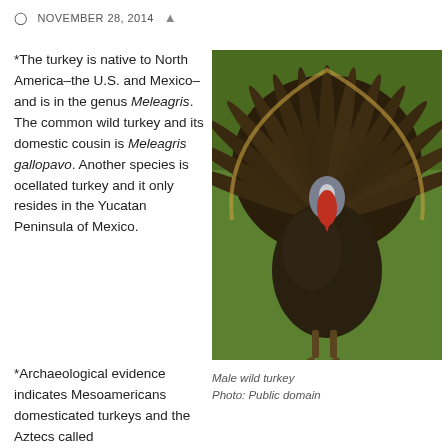NOVEMBER 28, 2014
*The turkey is native to North America–the U.S. and Mexico–and is in the genus Meleagris. The common wild turkey and its domestic cousin is Meleagris gallopavo. Another species is ocellated turkey and it only resides in the Yucatan Peninsula of Mexico.
[Figure (photo): A male wild turkey displaying full fan tail plumage, standing on grass, facing the camera with red wattle visible.]
Male wild turkey
Photo: Public domain
*Archaeological evidence indicates Mesoamericans domesticated turkeys and the Aztecs called...